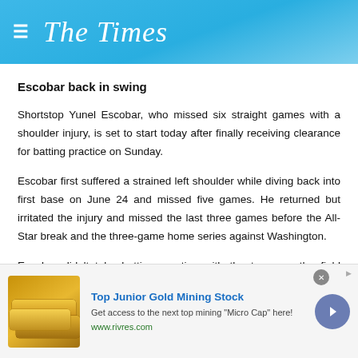The Times
Escobar back in swing
Shortstop Yunel Escobar, who missed six straight games with a shoulder injury, is set to start today after finally receiving clearance for batting practice on Sunday.
Escobar first suffered a strained left shoulder while diving back into first base on June 24 and missed five games. He returned but irritated the injury and missed the last three games before the All-Star break and the three-game home series against Washington.
Escobar didn't take batting practice with the team on the field Sunday but after being examined was cleared to take swings in the indoor batt...
[Figure (infographic): Advertisement banner for Top Junior Gold Mining Stock with gold bars image, text 'Get access to the next top mining "Micro Cap" here!' and url www.rivres.com]